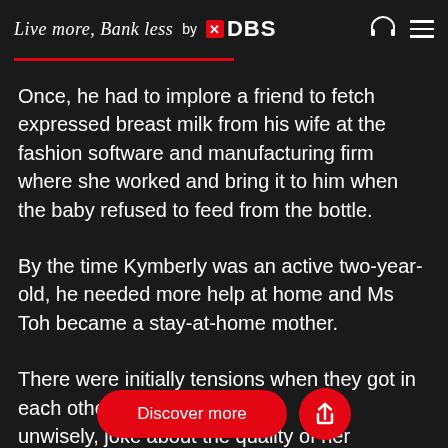Live more, Bank less by DBS
Once, he had to implore a friend to fetch expressed breast milk from his wife at the fashion software and manufacturing firm where she worked and bring it to him when the baby refused to feed from the bottle.
By the time Kymberly was an active two-year-old, he needed more help at home and Ms Toh became a stay-at-home mother.
There were initially tensions when they got in each other's way at ho... unwisely, joke about the quality of her